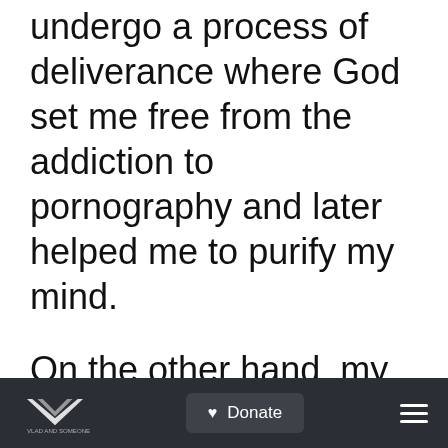undergo a process of deliverance where God set me free from the addiction to pornography and later helped me to purify my mind.

On the other hand, my wife's past involved sexual immorality. And just the same, she had to undergo a process of deliverance and
[logo] [Donate button] [hamburger menu]